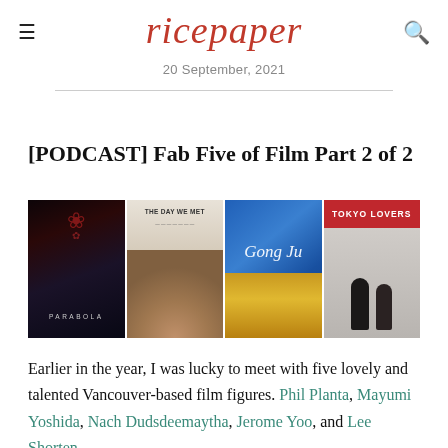ricepaper
20 September, 2021
[PODCAST] Fab Five of Film Part 2 of 2
[Figure (photo): Four film posters side by side: Parabola (dark moody), The Day We Met (beige/portrait), Gong Ju (blue with blonde hair), Tokyo Lovers (red header with two figures on street)]
Earlier in the year, I was lucky to meet with five lovely and talented Vancouver-based film figures. Phil Planta, Mayumi Yoshida, Nach Dudsdeemaytha, Jerome Yoo, and Lee Shorten